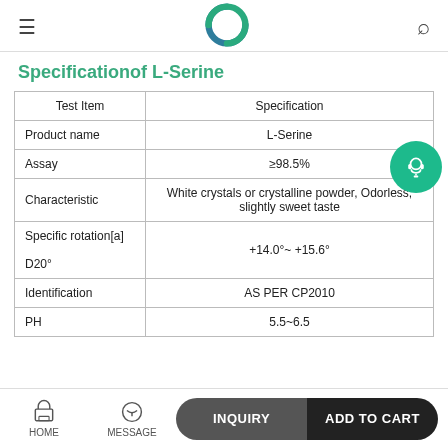Navigation header with logo
Specificationof L-Serine
| Test Item | Specification |
| --- | --- |
| Product name | L-Serine |
| Assay | ≥98.5% |
| Characteristic | White crystals or crystalline powder, Odorless, slightly sweet taste |
| Specific rotation[a]
D20° | +14.0°~ +15.6° |
| Identification | AS PER CP2010 |
| PH | 5.5~6.5 |
HOME  MESSAGE  INQUIRY  ADD TO CART